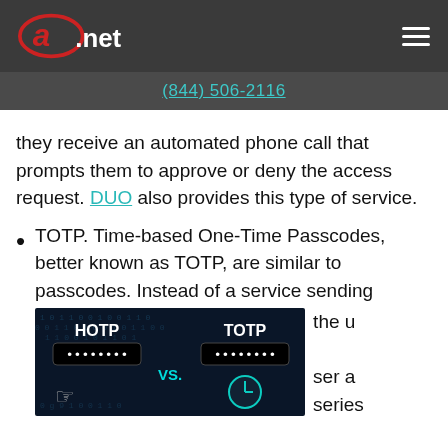a.net (844) 506-2116
they receive an automated phone call that prompts them to approve or deny the access request. DUO also provides this type of service.
TOTP. Time-based One-Time Passcodes, better known as TOTP, are similar to passcodes. Instead of a service sending the user a series
[Figure (illustration): HOTP vs TOTP comparison image showing two password input fields labeled HOTP and TOTP on a dark digital background with a clock icon and a hand cursor.]